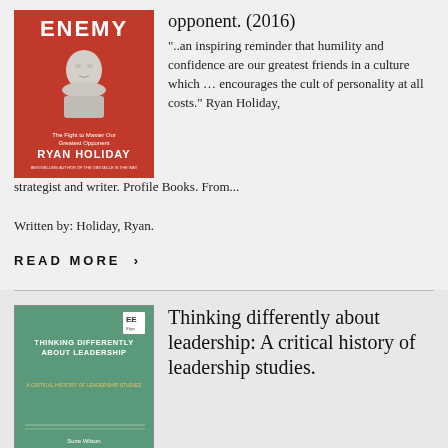[Figure (illustration): Book cover of 'Ego is the Enemy' by Ryan Holiday - red background with white marble bust sculpture]
opponent. (2016)
"..an inspiring reminder that humility and confidence are our greatest friends in a culture which … encourages the cult of personality at all costs." Ryan Holiday, strategist and writer. Profile Books. From...
Written by: Holiday, Ryan.
READ MORE >
[Figure (illustration): Book cover of 'Thinking Differently About Leadership: A Critical History of Leadership Studies' - green/teal background with EE Elgar publisher logo]
Thinking differently about leadership: A critical history of leadership studies.